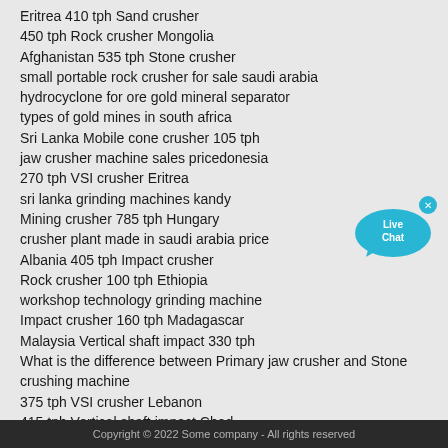Eritrea 410 tph Sand crusher
450 tph Rock crusher Mongolia
Afghanistan 535 tph Stone crusher
small portable rock crusher for sale saudi arabia
hydrocyclone for ore gold mineral separator
types of gold mines in south africa
Sri Lanka Mobile cone crusher 105 tph
jaw crusher machine sales pricedonesia
270 tph VSI crusher Eritrea
sri lanka grinding machines kandy
Mining crusher 785 tph Hungary
crusher plant made in saudi arabia price
Albania 405 tph Impact crusher
Rock crusher 100 tph Ethiopia
workshop technology grinding machine
Impact crusher 160 tph Madagascar
Malaysia Vertical shaft impact 330 tph
What is the difference between Primary jaw crusher and Stone crushing machine
375 tph VSI crusher Lebanon
415 tph Vertical shaft impact Chad
Cone crusher 260 tph Algeria
Uruguay 485 tph Cone crusher
835 tph Portable jaw crusher Italy
[Figure (illustration): Live Chat bubble icon in blue]
Copyright © 2022 Some company - All rights reserved